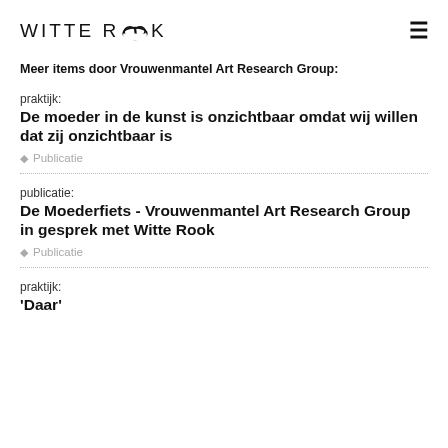WITTE ROOK
Meer items door Vrouwenmantel Art Research Group:
praktijk:
De moeder in de kunst is onzichtbaar omdat wij willen dat zij onzichtbaar is
Publicatie
publicatie:
De Moederfiets - Vrouwenmantel Art Research Group in gesprek met Witte Rook
Publicatie
praktijk:
'Daar'